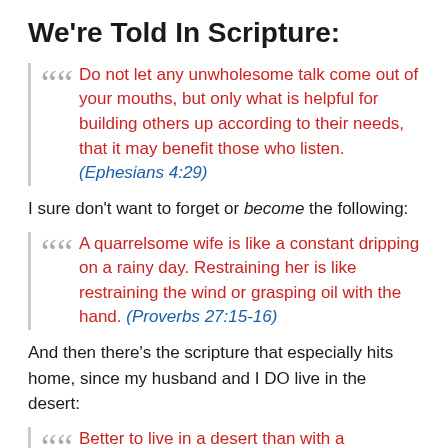We're Told In Scripture:
Do not let any unwholesome talk come out of your mouths, but only what is helpful for building others up according to their needs, that it may benefit those who listen. (Ephesians 4:29)
I sure don't want to forget or become the following:
A quarrelsome wife is like a constant dripping on a rainy day. Restraining her is like restraining the wind or grasping oil with the hand. (Proverbs 27:15-16)
And then there's the scripture that especially hits home, since my husband and I DO live in the desert:
Better to live in a desert than with a